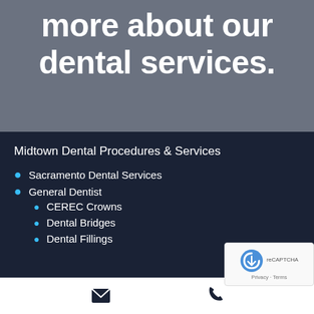more about our dental services.
Midtown Dental Procedures & Services
Sacramento Dental Services
General Dentist
CEREC Crowns
Dental Bridges
Dental Fillings
email icon | phone icon | Privacy - Terms